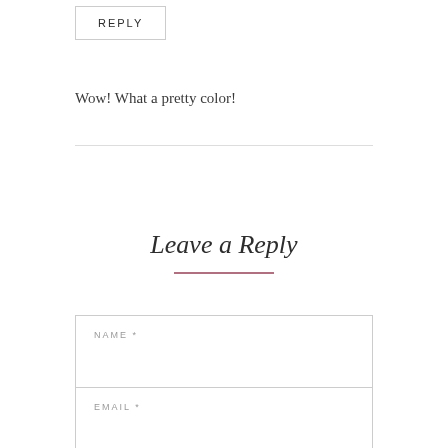REPLY
Wow! What a pretty color!
Leave a Reply
NAME *
EMAIL *
WEBSITE